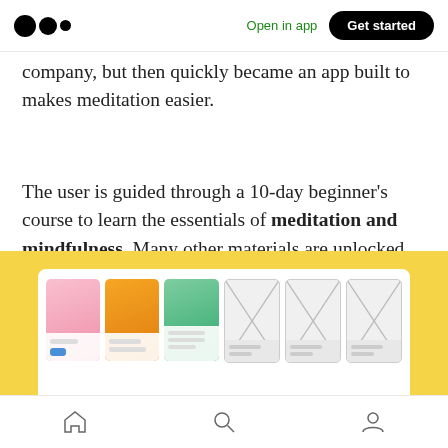Open in app  Get started
company, but then quickly became an app built to makes meditation easier.
The user is guided through a 10-day beginner’s course to learn the essentials of meditation and mindfulness. Many other materials are unlocked after subscription. They cover different issues like insomnia, anxiety, grief and general improvement of mental wellbeing.
[Figure (screenshot): Yellow background with white browser/app frame showing meditation app UI screens: pink, orange, and green colored cards alongside wireframe placeholders]
Home  Search  Profile navigation icons